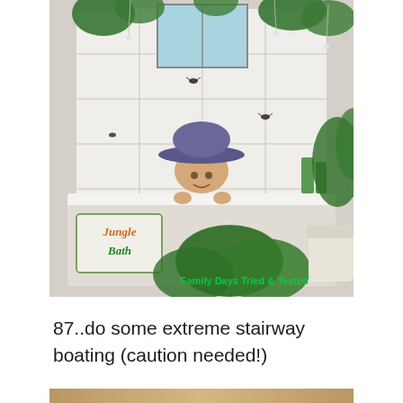[Figure (photo): A young child wearing a large cowboy hat peers over the edge of a bathtub decorated with plastic jungle plants, fake insects, and a 'Jungle Bath' sign. The bathroom walls are white tiles. A watermark reads 'Family Days Tried & Tested' in green text.]
87..do some extreme stairway boating (caution needed!)
[Figure (photo): Partial image visible at the bottom of the page.]